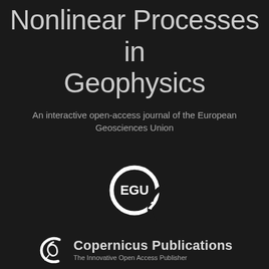Nonlinear Processes in Geophysics
An interactive open-access journal of the European Geosciences Union
[Figure (logo): EGU (European Geosciences Union) logo — circular arrow with EGU text in white on dark background]
[Figure (logo): Copernicus Publications logo — stylized C with feather/pen icon, white on dark, with tagline 'The Innovative Open Access Publisher']